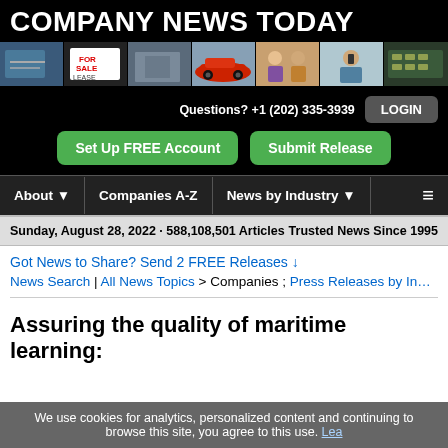COMPANY NEWS TODAY
[Figure (photo): Strip of 7 small editorial photos including real estate, cars, people shopping]
Questions? +1 (202) 335-3939
Set Up FREE Account
Submit Release
About ▼ | Companies A-Z | News by Industry ▼
Sunday, August 28, 2022 · 588,108,501 Articles    Trusted News Since 1995
Got News to Share? Send 2 FREE Releases ↓
News Search | All News Topics > Companies ; Press Releases by In…
Assuring the quality of maritime learning:
We use cookies for analytics, personalized content and continuing to browse this site, you agree to this use. Lea…